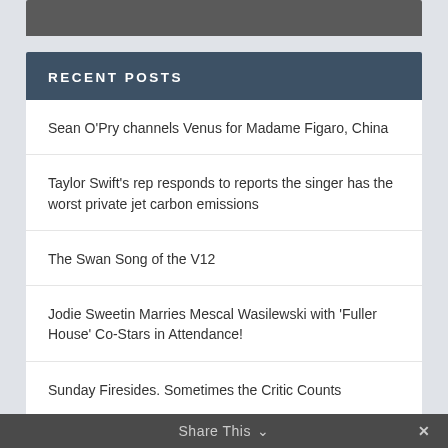[Figure (photo): Partial dark/grey image at top of page]
RECENT POSTS
Sean O'Pry channels Venus for Madame Figaro, China
Taylor Swift's rep responds to reports the singer has the worst private jet carbon emissions
The Swan Song of the V12
Jodie Sweetin Marries Mescal Wasilewski with 'Fuller House' Co-Stars in Attendance!
Sunday Firesides. Sometimes the Critic Counts
Share This ∨  ×